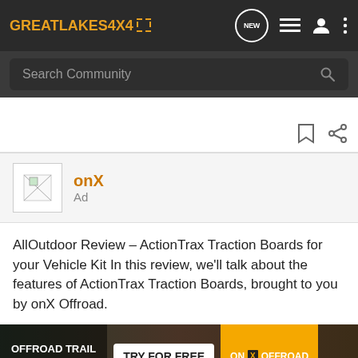GREATLAKES4x4 — navigation bar with NEW, list, user, and more icons
Search Community
[Figure (screenshot): Bookmark and share icons on white strip]
[Figure (logo): onX ad thumbnail with broken image icon]
onX
Ad
AllOutdoor Review – ActionTrax Traction Boards for your Vehicle Kit In this review, we'll talk about the features of ActionTrax Traction Boards, brought to you by onX Offroad.
[Figure (infographic): onX Offroad banner ad: OFFROAD TRAIL MAPS & GPS | TRY FOR FREE | ON X OFFROAD]